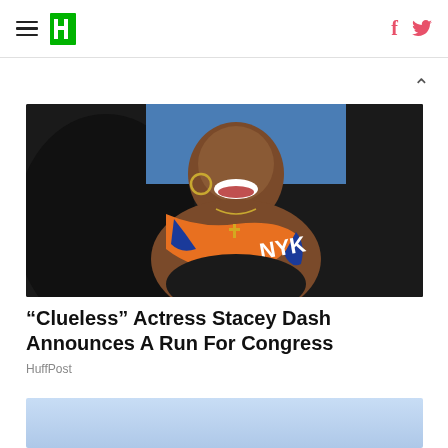HuffPost navigation with hamburger menu, logo, Facebook and Twitter icons
[Figure (photo): Woman smiling, wearing an orange and blue NY Knicks scarf/towel with 'NYK' text, black sequin top, cross necklace and gold chain necklace, hoop earrings, seated at what appears to be a sporting event. Dark figures in background.]
“Clueless” Actress Stacey Dash Announces A Run For Congress
HuffPost
[Figure (photo): Partially visible second image with light blue/sky background, cropped at bottom of page.]